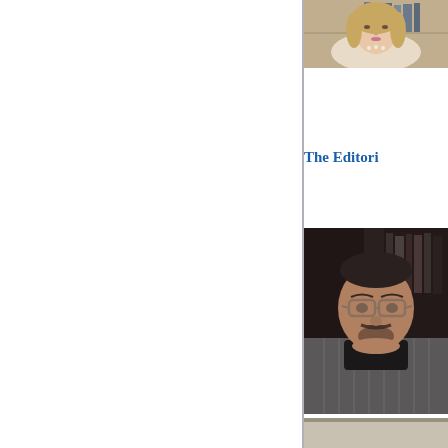[Figure (photo): Portrait photo of a woman with blonde hair wearing a cream-colored jacket, seated in front of bookshelves]
The Editori
[Figure (photo): Portrait photo of an older man with glasses and a mustache wearing a dark turtleneck and grey jacket, seated in front of bookshelves]